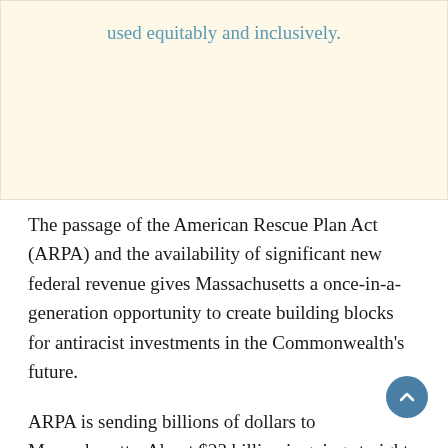used equitably and inclusively.
The passage of the American Rescue Plan Act (ARPA) and the availability of significant new federal revenue gives Massachusetts a once-in-a-generation opportunity to create building blocks for antiracist investments in the Commonwealth’s future.
ARPA is sending billions of dollars to Massachusetts. About $23 billion is going straight to Massachusetts residents or businesses, in the form of expanded unemployment insurance, “stimulus checks”, the expanded child tax credit, subsidies for health